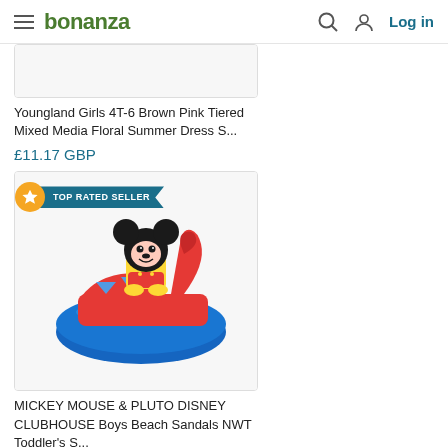bonanza — Log in
[Figure (photo): Partial product image (top of dress photo cropped)]
Youngland Girls 4T-6 Brown Pink Tiered Mixed Media Floral Summer Dress S...
£11.17 GBP
[Figure (photo): Mickey Mouse & Pluto Disney Clubhouse Boys Beach Sandal — blue sole with red strap and Mickey Mouse character decoration. TOP RATED SELLER badge shown.]
MICKEY MOUSE & PLUTO DISNEY CLUBHOUSE Boys Beach Sandals NWT Toddler's S...